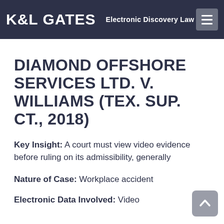K&L GATES  Electronic Discovery Law
DIAMOND OFFSHORE SERVICES LTD. V. WILLIAMS (TEX. SUP. CT., 2018)
Key Insight: A court must view video evidence before ruling on its admissibility, generally
Nature of Case: Workplace accident
Electronic Data Involved: Video